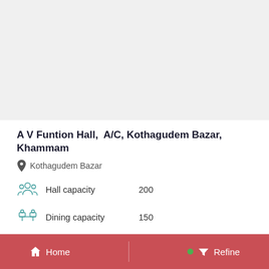[Figure (photo): Photo of A V Funtion Hall venue (light gray placeholder area)]
A V Funtion Hall,  A/C, Kothagudem Bazar, Khammam
Kothagudem Bazar
Hall capacity   200
Dining capacity   150
Food type   Veg & Non-Veg
Rooms   A/C : 6, Non-A/C : 0
Starting From ₹ 20000 per day
Home   Refine